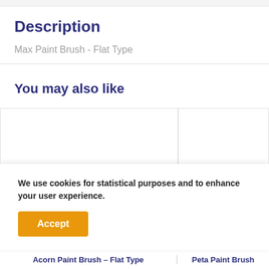Description
Max Paint Brush - Flat Type
You may also like
[Figure (other): Two product card placeholders side by side, empty white boxes with light borders]
We use cookies for statistical purposes and to enhance your user experience.
Accept
Acorn Paint Brush – Flat Type
Peta Paint Brush